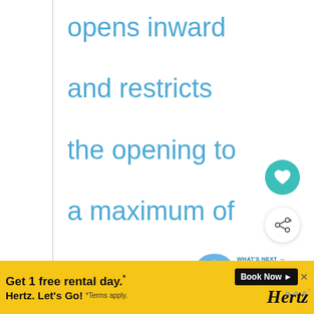opens inward and restricts the opening to a maximum of 33 in. (84 cm) in height. Items that exceed
[Figure (other): Heart/favorite icon button (teal circle with white heart)]
[Figure (other): Share icon button (white circle with share symbol and plus)]
[Figure (other): What's Next panel with thumbnail of airplane and text: WestJet Fleet Boeing 737-...]
[Figure (other): Hertz advertisement banner: Get 1 free rental day.* Hertz. Let's Go! Book Now. *Terms apply.]